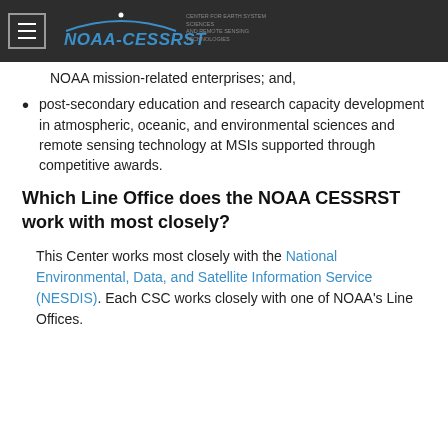NOAA-CESSRST | CENTER FOR EARTH SYSTEM SCIENCES AND REMOTE SENSING TECHNOLOGIES
NOAA mission-related enterprises; and,
post-secondary education and research capacity development in atmospheric, oceanic, and environmental sciences and remote sensing technology at MSIs supported through competitive awards.
Which Line Office does the NOAA CESSRST work with most closely?
This Center works most closely with the National Environmental, Data, and Satellite Information Service (NESDIS). Each CSC works closely with one of NOAA's Line Offices.